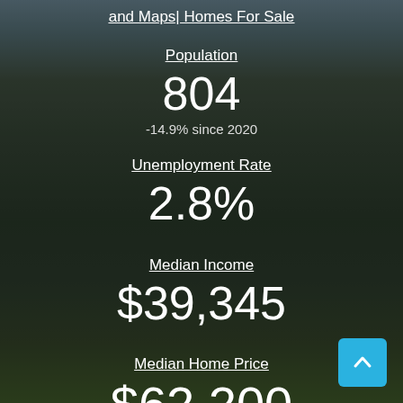and Maps| Homes For Sale
Population
804
-14.9% since 2020
Unemployment Rate
2.8%
Median Income
$39,345
Median Home Price
$62,200